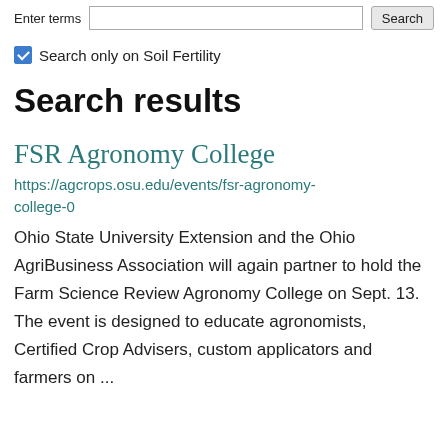Enter terms [search input] Search
Search only on Soil Fertility
Search results
FSR Agronomy College
https://agcrops.osu.edu/events/fsr-agronomy-college-0
Ohio State University Extension and the Ohio AgriBusiness Association will again partner to hold the Farm Science Review Agronomy College on Sept. 13. The event is designed to educate agronomists, Certified Crop Advisers, custom applicators and farmers on ...